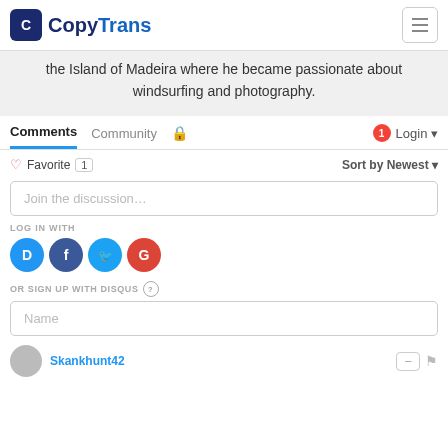[Figure (logo): CopyTrans logo with blue square C icon and CopyTrans text]
the Island of Madeira where he became passionate about windsurfing and photography.
Comments  Community  Login
Favorite 1  Sort by Newest
Join the discussion…
LOG IN WITH
[Figure (infographic): Social login icons: Disqus (blue), Facebook (dark blue), Twitter (light blue), Google (red)]
OR SIGN UP WITH DISQUS ?
Name
Skankhunt42